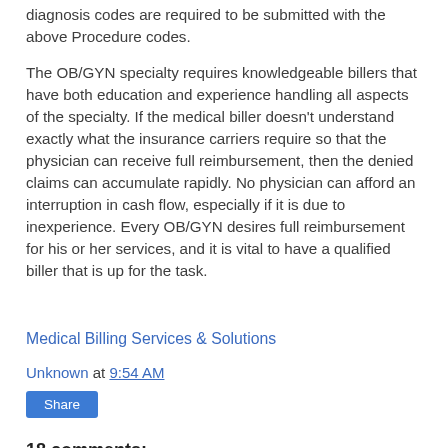diagnosis codes are required to be submitted with the above Procedure codes.
The OB/GYN specialty requires knowledgeable billers that have both education and experience handling all aspects of the specialty.  If the medical biller doesn't understand exactly what the insurance carriers require so that the physician can receive full reimbursement, then the denied claims can accumulate rapidly.  No physician can afford an interruption in cash flow, especially if it is due to inexperience.  Every OB/GYN desires full reimbursement for his or her services, and it is vital to have a qualified biller that is up for the task.
Medical Billing Services & Solutions
Unknown at 9:54 AM
Share
18 comments: